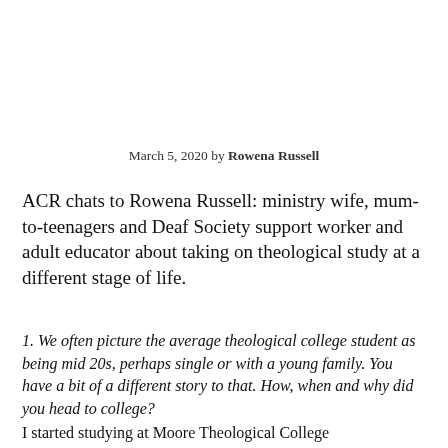March 5, 2020 by Rowena Russell
ACR chats to Rowena Russell: ministry wife, mum-to-teenagers and Deaf Society support worker and adult educator about taking on theological study at a different stage of life.
1. We often picture the average theological college student as being mid 20s, perhaps single or with a young family. You have a bit of a different story to that. How, when and why did you head to college?
I started studying at Moore Theological College